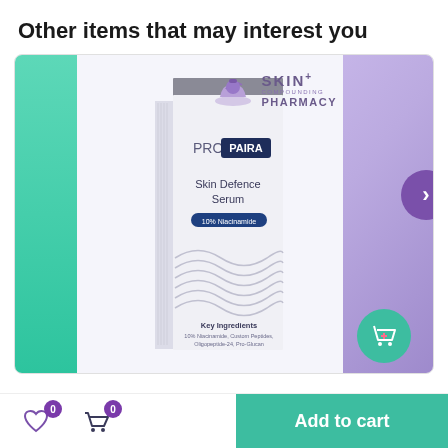Other items that may interest you
[Figure (photo): Product card showing PROPAIRA Skin Defence Serum box with 10% Niacinamide, on a background with teal left panel and purple right gradient. Skin+ Compounding Pharmacy logo in top right. Navigation arrow on right side.]
Add to cart